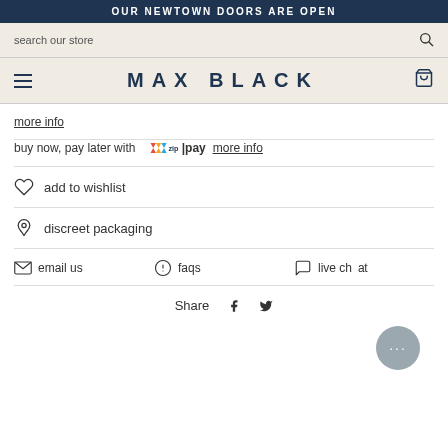OUR NEWTOWN DOORS ARE OPEN
search our store
MAX BLACK
more info
buy now, pay later with zip|pay more info
add to wishlist
discreet packaging
email us    faqs    live chat
Share